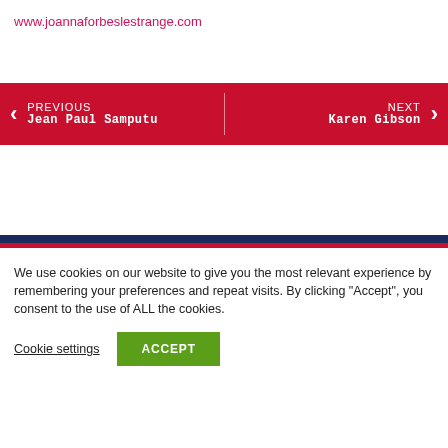www.joannaforbeslestrange.com
PREVIOUS Jean Paul Samputu | NEXT Karen Gibson
We use cookies on our website to give you the most relevant experience by remembering your preferences and repeat visits. By clicking “Accept”, you consent to the use of ALL the cookies.
Cookie settings | ACCEPT